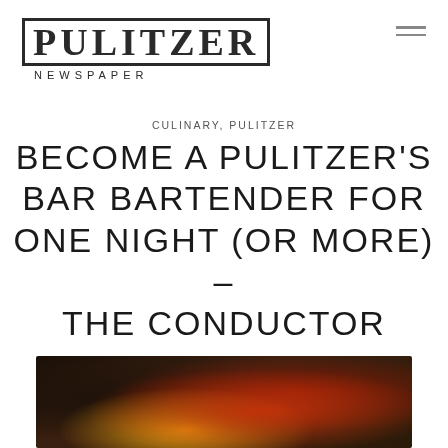PULITZER NEWSPAPER
CULINARY, PULITZER
BECOME A PULITZER'S BAR BARTENDER FOR ONE NIGHT (OR MORE) – THE CONDUCTOR
[Figure (photo): Close-up photo of a cocktail drink with colorful garnish including a yellow straw/garnish, red drink in a glass, dark moody background]